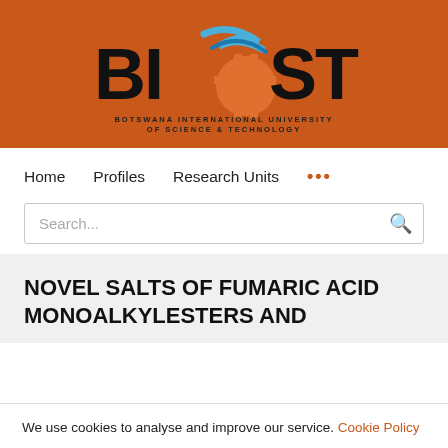[Figure (logo): BIUST - Botswana International University of Science & Technology logo on orange background]
Home   Profiles   Research Units   ...
Search...
NOVEL SALTS OF FUMARIC ACID MONOALKYLESTERS AND
We use cookies to analyse and improve our service. Cookie Policy